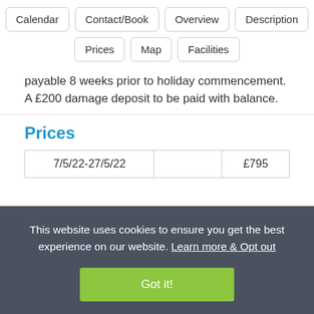Calendar | Contact/Book | Overview | Description | Prices | Map | Facilities
payable 8 weeks prior to holiday commencement. A £200 damage deposit to be paid with balance.
Prices
| Date Range |  | Price |
| --- | --- | --- |
| 7/5/22-27/5/22 |  | £795 |
This website uses cookies to ensure you get the best experience on our website. Learn more & Opt out
Got it!